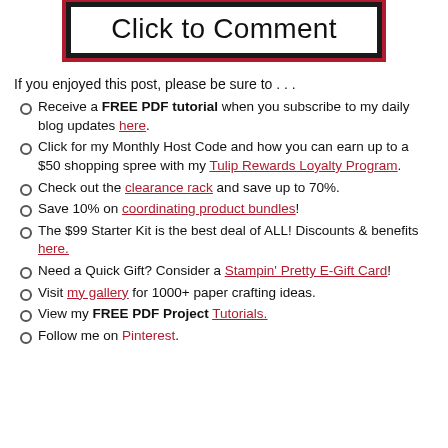[Figure (other): Button graphic with text 'Click to Comment', black border with dark red/crimson outline]
If you enjoyed this post, please be sure to . . .
Receive a FREE PDF tutorial when you subscribe to my daily blog updates here.
Click for my Monthly Host Code and how you can earn up to a $50 shopping spree with my Tulip Rewards Loyalty Program.
Check out the clearance rack and save up to 70%.
Save 10% on coordinating product bundles!
The $99 Starter Kit is the best deal of ALL! Discounts & benefits here.
Need a Quick Gift? Consider a Stampin' Pretty E-Gift Card!
Visit my gallery for 1000+ paper crafting ideas.
View my FREE PDF Project Tutorials.
Follow me on Pinterest.